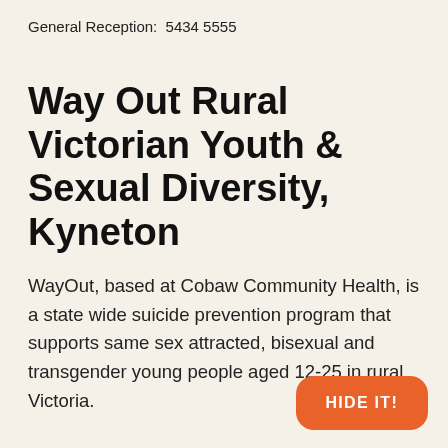General Reception:  5434 5555
Way Out Rural Victorian Youth & Sexual Diversity, Kyneton
WayOut, based at Cobaw Community Health, is a state wide suicide prevention program that supports same sex attracted, bisexual and transgender young people aged 12-25 in rural Victoria.
HIDE IT!